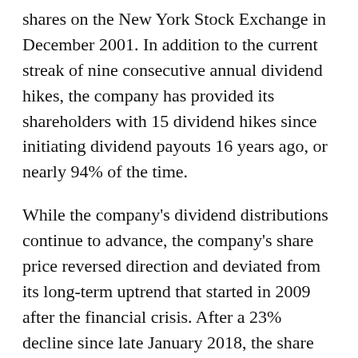shares on the New York Stock Exchange in December 2001. In addition to the current streak of nine consecutive annual dividend hikes, the company has provided its shareholders with 15 dividend hikes since initiating dividend payouts 16 years ago, or nearly 94% of the time.
While the company's dividend distributions continue to advance, the company's share price reversed direction and deviated from its long-term uptrend that started in 2009 after the financial crisis. After a 23% decline since late January 2018, the share price has embarked on a short-term uptrend and gained 9% since late June 2018. A continuation of the current uptrend would make the current share price drop an opportunity to add Prudential's shares at discounted